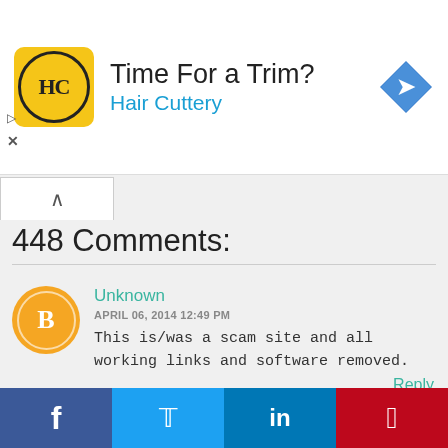[Figure (infographic): Advertisement banner for Hair Cuttery with logo, text 'Time For a Trim?' and 'Hair Cuttery', and a blue navigation arrow icon on the right]
448 Comments:
Unknown
APRIL 06, 2014 12:49 PM
This is/was a scam site and all working links and software removed.
Reply
Piyush Golani
APRIL 07, 2014 12:39 AM
Hey Conrad, this site is not the
[Figure (infographic): Social media share bar with Facebook, Twitter, LinkedIn, and Pinterest buttons]